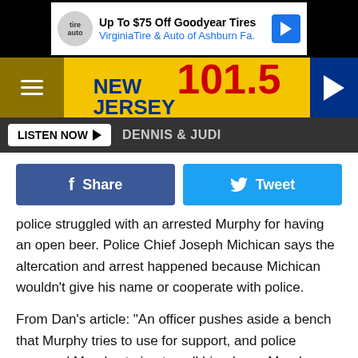[Figure (screenshot): Advertisement banner for Virginia Tire & Auto / Goodyear Tires]
[Figure (logo): New Jersey 101.5 radio station header logo with hamburger menu and play button]
[Figure (screenshot): Listen Now button bar with Dennis & Judi text]
[Figure (screenshot): Facebook Share and Twitter Tweet social buttons]
police struggled with an arrested Murphy for having an open beer. Police Chief Joseph Michican says the altercation and arrest happened because Michican wouldn't give his name or cooperate with police.
From Dan's article: "An officer pushes aside a bench that Murphy tries to use for support, and police surround Murphy, trying to pull him down. Murphy, who is not wearing a shirt, stands on one foot before being brought down by an officer and continues to flail on the boards. ... Murphy gave a false